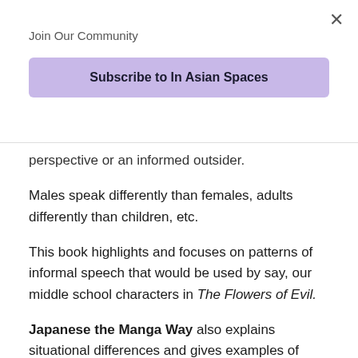Join Our Community
Subscribe to In Asian Spaces
perspective or an informed outsider.
Males speak differently than females, adults differently than children, etc.
This book highlights and focuses on patterns of informal speech that would be used by say, our middle school characters in The Flowers of Evil.
Japanese the Manga Way also explains situational differences and gives examples of when informal